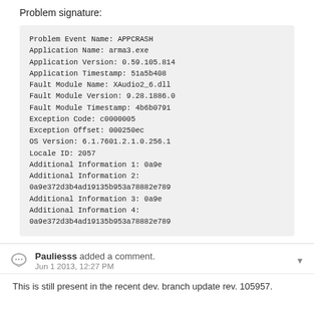Problem signature:
Problem Event Name:      APPCRASH
Application Name:        arma3.exe
Application Version:     0.59.105.814
Application Timestamp:   51a5b408
Fault Module Name:       XAudio2_6.dll
Fault Module Version:    9.28.1886.0
Fault Module Timestamp:  4b6b0791
Exception Code: c0000005
Exception Offset:        000250ec
OS Version:      6.1.7601.2.1.0.256.1
Locale ID:       2057
Additional Information 1:        0a9e
Additional Information 2:
0a9e372d3b4ad19135b953a78882e789
Additional Information 3:        0a9e
Additional Information 4:
0a9e372d3b4ad19135b953a78882e789
Pauliesss added a comment.
Jun 1 2013, 12:27 PM
This is still present in the recent dev. branch update rev. 105957.